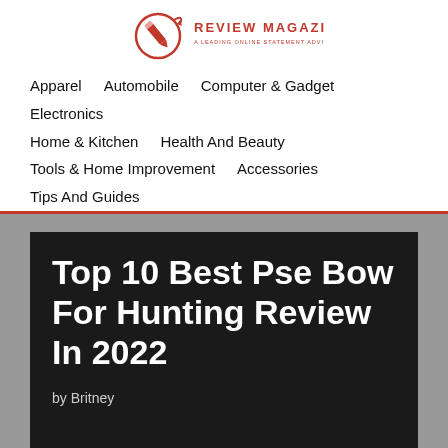[Figure (logo): Review Magazine logo with pencil icon and red text]
Apparel   Automobile   Computer & Gadget   Electronics   Home & Kitchen   Health And Beauty   Tools & Home Improvement   Accessories   Tips And Guides
Top 10 Best Pse Bow For Hunting Review In 2022
by Britney